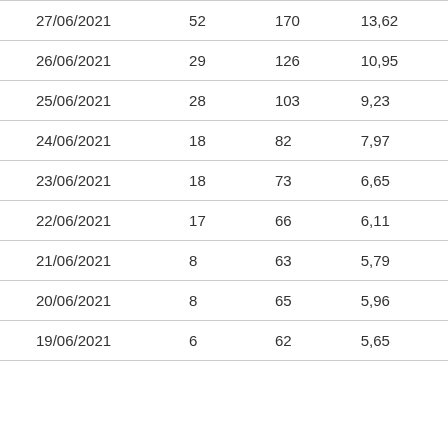| 27/06/2021 | 52 | 170 | 13,62 |
| 26/06/2021 | 29 | 126 | 10,95 |
| 25/06/2021 | 28 | 103 | 9,23 |
| 24/06/2021 | 18 | 82 | 7,97 |
| 23/06/2021 | 18 | 73 | 6,65 |
| 22/06/2021 | 17 | 66 | 6,11 |
| 21/06/2021 | 8 | 63 | 5,79 |
| 20/06/2021 | 8 | 65 | 5,96 |
| 19/06/2021 | 6 | 62 | 5,65 |